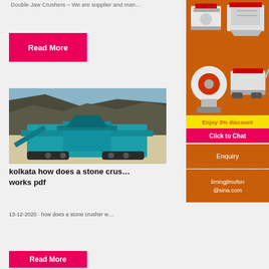Double Jaw Crushers – We are supplier and man…
Read More
[Figure (photo): A teal/blue mobile jaw crusher or screening machine on sandy ground with a rocky cliff/hillside in the background.]
kolkata how does a stone crus… works pdf
13-12-2020 · how does a stone crusher w…
[Figure (infographic): Orange sidebar advertisement showing industrial crushing/milling machines with 'Enjoy 3% discount' banner in yellow and 'Click to Chat' button in pink, plus Enquiry section and contact email limingjlmofen@sina.com]